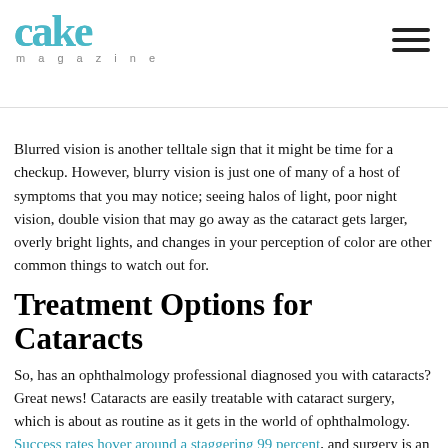cake magazine
Blurred vision is another telltale sign that it might be time for a checkup. However, blurry vision is just one of many of a host of symptoms that you may notice; seeing halos of light, poor night vision, double vision that may go away as the cataract gets larger, overly bright lights, and changes in your perception of color are other common things to watch out for.
Treatment Options for Cataracts
So, has an ophthalmology professional diagnosed you with cataracts? Great news! Cataracts are easily treatable with cataract surgery, which is about as routine as it gets in the world of ophthalmology. Success rates hover around a staggering 99 percent, and surgery is an outpatient procedure that can be completed in a matter of minutes with minimal complications. There has even been research done on robot-assisted cataract removal, so check out our article on how robots could be changing the face of